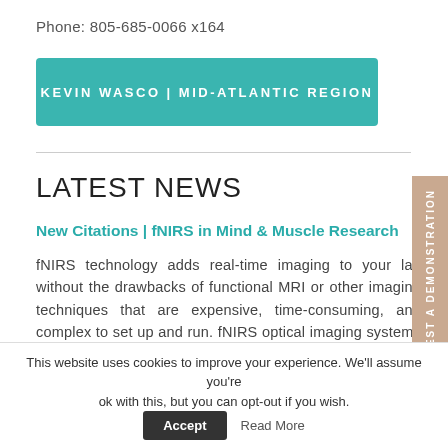Phone: 805-685-0066 x164
[Figure (other): Teal button with text KEVIN WASCO | MID-ATLANTIC REGION]
LATEST NEWS
New Citations | fNIRS in Mind & Muscle Research
fNIRS technology adds real-time imaging to your lab without the drawbacks of functional MRI or other imaging techniques that are expensive, time-consuming, and complex to set up and run. fNIRS optical imaging systems are ideal for research and education, to study the brain or muscle function. Here's a sampling of recent fNIRS citations... Similarities and differences in the
REQUEST A DEMONSTRATION
This website uses cookies to improve your experience. We'll assume you're ok with this, but you can opt-out if you wish.  Accept  Read More